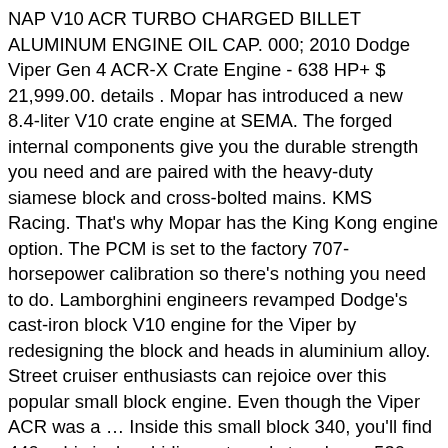NAP V10 ACR TURBO CHARGED BILLET ALUMINUM ENGINE OIL CAP. 000; 2010 Dodge Viper Gen 4 ACR-X Crate Engine - 638 HP+ $ 21,999.00. details . Mopar has introduced a new 8.4-liter V10 crate engine at SEMA. The forged internal components give you the durable strength you need and are paired with the heavy-duty siamese block and cross-bolted mains. KMS Racing. That's why Mopar has the King Kong engine option. The PCM is set to the factory 707-horsepower calibration so there's nothing you need to do. Lamborghini engineers revamped Dodge's cast-iron block V10 engine for the Viper by redesigning the block and heads in aluminium alloy. Street cruiser enthusiasts can rejoice over this popular small block engine. Even though the Viper ACR was a … Inside this small block 340, you'll find 440 cubic inches hiding out ready to release 530 horsepower. If you prefer the Gen-III Hemi, that's available as well. ENGINE, ENGINE. The first would likely feature the 392 HEMI engine (6.4-litre V8) with 485 horsepower and 475 pound-feet of torque. X2 Builders carries a wide variety of repairable, rebuildable salvage vehicles with NEW INVENTORY arriving weekly! For those who have a blown engine, make sure to check their available Rebuilt Engines as well.